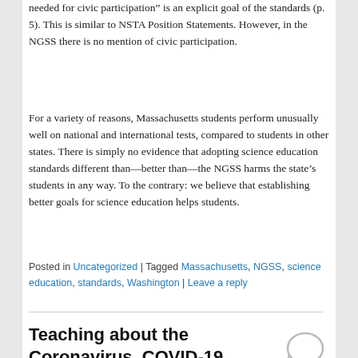needed for civic participation" is an explicit goal of the standards (p. 5). This is similar to NSTA Position Statements. However, in the NGSS there is no mention of civic participation.
For a variety of reasons, Massachusetts students perform unusually well on national and international tests, compared to students in other states. There is simply no evidence that adopting science education standards different than—better than—the NGSS harms the state's students in any way. To the contrary: we believe that establishing better goals for science education helps students.
Posted in Uncategorized | Tagged Massachusetts, NGSS, science education, standards, Washington | Leave a reply
Teaching about the Coronavirus, COVID-19